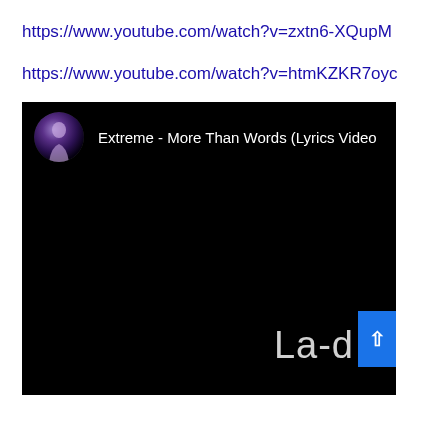https://www.youtube.com/watch?v=zxtn6-XQupM
https://www.youtube.com/watch?v=htmKZKR7oyc
[Figure (screenshot): YouTube video player screenshot showing 'Extreme - More Than Words (Lyrics Video' with a channel avatar thumbnail on the left, black video area in the middle, and partial lyrics text 'La-d' visible in the bottom right corner with a blue scroll button overlay.]